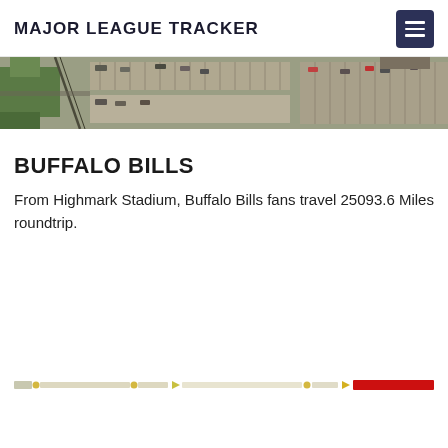MAJOR LEAGUE TRACKER
[Figure (photo): Aerial satellite view of Highmark Stadium and surrounding parking lots]
BUFFALO BILLS
From Highmark Stadium, Buffalo Bills fans travel 25093.6 Miles roundtrip.
[Figure (bar-chart): Horizontal distance/travel bar chart showing relative travel distances, with a prominent red segment on the right side]